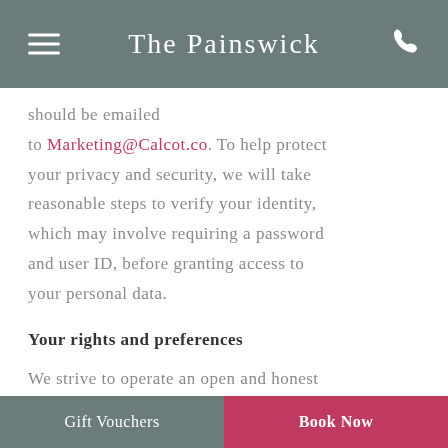The Painswick
should be emailed to Marketing@Calcot.co. To help protect your privacy and security, we will take reasonable steps to verify your identity, which may involve requiring a password and user ID, before granting access to your personal data.
Your rights and preferences
We strive to operate an open and honest
Gift Vouchers   Book Now